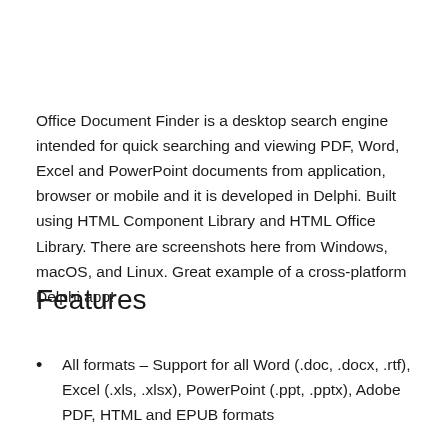Office Document Finder is a desktop search engine intended for quick searching and viewing PDF, Word, Excel and PowerPoint documents from application, browser or mobile and it is developed in Delphi. Built using HTML Component Library and HTML Office Library. There are screenshots here from Windows, macOS, and Linux. Great example of a cross-platform Delphi app!
Features
All formats – Support for all Word (.doc, .docx, .rtf), Excel (.xls, .xlsx), PowerPoint (.ppt, .pptx), Adobe PDF, HTML and EPUB formats